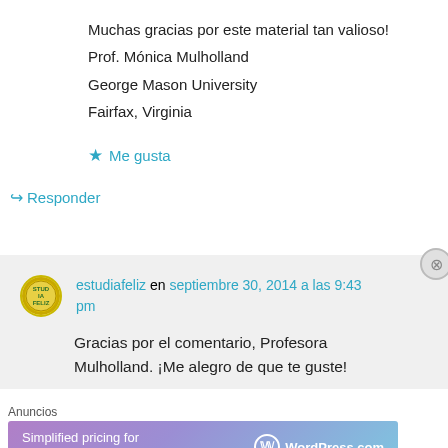Muchas gracias por este material tan valioso!
Prof. Mónica Mulholland
George Mason University
Fairfax, Virginia
★ Me gusta
↳ Responder
estudiafeliz en septiembre 30, 2014 a las 9:43 pm
Gracias por el comentario, Profesora Mulholland. ¡Me alegro de que te guste!
Anuncios
[Figure (screenshot): WordPress.com advertisement banner: 'Simplified pricing for everything you need.' with WordPress.com logo on purple-blue gradient background]